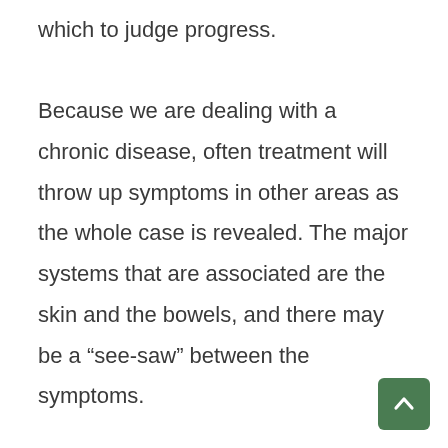which to judge progress.

Because we are dealing with a chronic disease, often treatment will throw up symptoms in other areas as the whole case is revealed. The major systems that are associated are the skin and the bowels, and there may be a “see-saw” between the symptoms.

The question of potency is an important consideration when prescribing the constitutional remedy. This is one of the